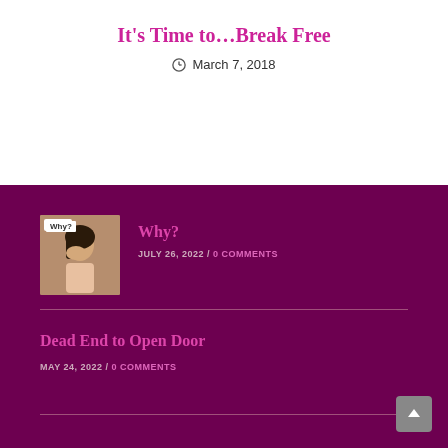It’s Time to…Break Free
March 7, 2018
[Figure (photo): Thumbnail image of a person with hand on face, labeled 'Why?']
Why?
JULY 26, 2022 / 0 COMMENTS
Dead End to Open Door
MAY 24, 2022 / 0 COMMENTS